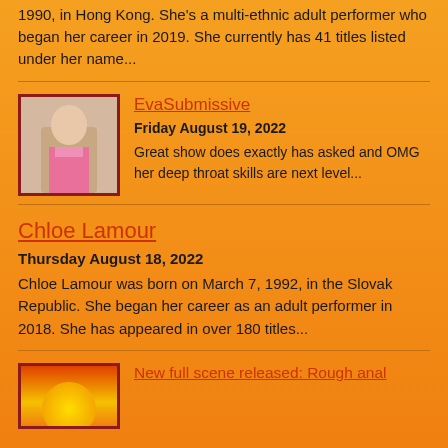1990, in Hong Kong. She's a multi-ethnic adult performer who began her career in 2019. She currently has 41 titles listed under her name...
EvaSubmissive
Friday August 19, 2022
Great show does exactly has asked and OMG her deep throat skills are next level...
Chloe Lamour
Thursday August 18, 2022
Chloe Lamour was born on March 7, 1992, in the Slovak Republic. She began her career as an adult performer in 2018. She has appeared in over 180 titles...
New full scene released: Rough anal